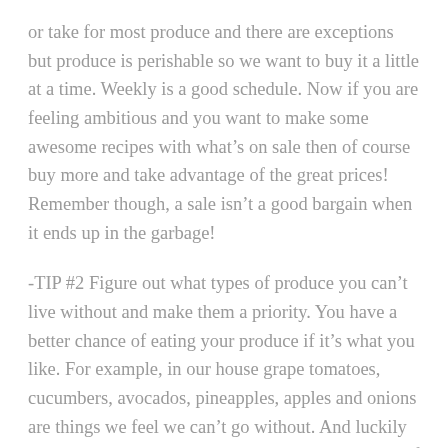or take for most produce and there are exceptions but produce is perishable so we want to buy it a little at a time. Weekly is a good schedule. Now if you are feeling ambitious and you want to make some awesome recipes with what's on sale then of course buy more and take advantage of the great prices! Remember though, a sale isn't a good bargain when it ends up in the garbage!
-TIP #2 Figure out what types of produce you can't live without and make them a priority. You have a better chance of eating your produce if it's what you like. For example, in our house grape tomatoes, cucumbers, avocados, pineapples, apples and onions are things we feel we can't go without. And luckily those are items pretty readily available most times of the year. Then there is lots of produce we